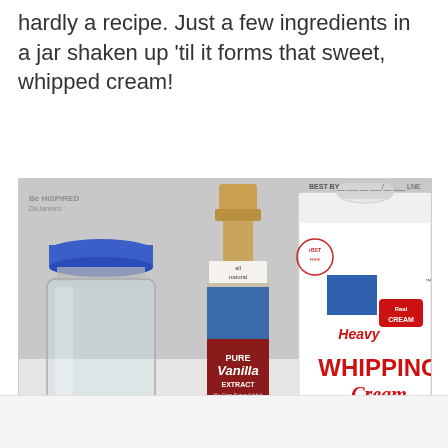hardly a recipe. Just a few ingredients in a jar shaken up 'til it forms that sweet, whipped cream!
[Figure (photo): Photo showing whipped cream ingredients: a glass mason jar with blue lid, a bottle of Pure Vanilla Extract labeled 'all natural', and a carton of Heavy Whipping Cream (Ultra-Pasteurized/Grade A, Real Cream), plus a small bowl of sugar in the foreground. A watermark reading 'Be Inspired by... (blog name)' is visible in the top left.]